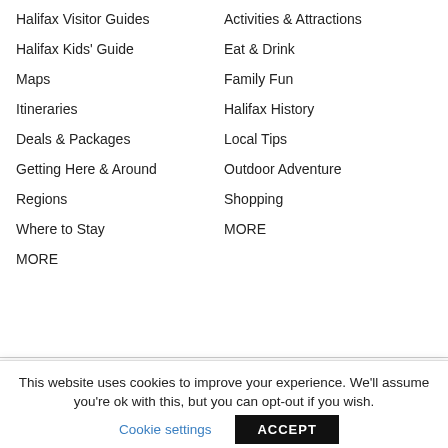Halifax Visitor Guides
Halifax Kids' Guide
Maps
Itineraries
Deals & Packages
Getting Here & Around
Regions
Where to Stay
MORE
Activities & Attractions
Eat & Drink
Family Fun
Halifax History
Local Tips
Outdoor Adventure
Shopping
MORE
MEETINGS &
MEMBERS
This website uses cookies to improve your experience. We'll assume you're ok with this, but you can opt-out if you wish.
Cookie settings
ACCEPT